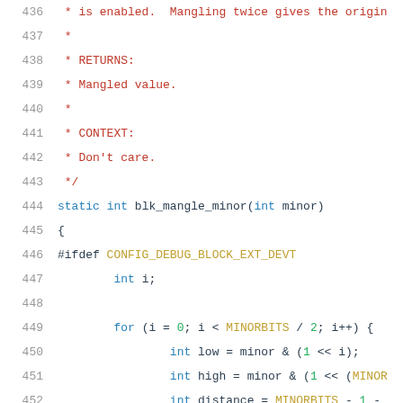436  * is enabled.  Mangling twice gives the origin
437  *
438  * RETURNS:
439  * Mangled value.
440  *
441  * CONTEXT:
442  * Don't care.
443  */
444  static int blk_mangle_minor(int minor)
445  {
446  #ifdef CONFIG_DEBUG_BLOCK_EXT_DEVT
447          int i;
448
449          for (i = 0; i < MINORBITS / 2; i++) {
450                  int low = minor & (1 << i);
451                  int high = minor & (1 << (MINOR
452                  int distance = MINORBITS - 1 -
453
454                  minor ^= low | high;    /* clea
455                  low <<= distance;        /* swap
456                  high >>= distance;